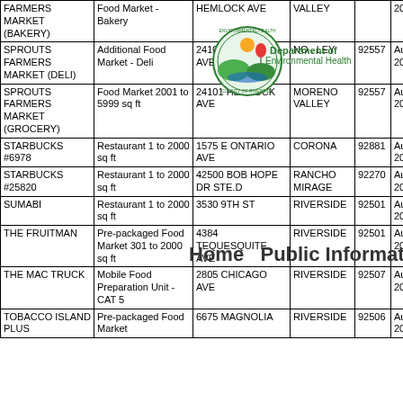| Name | Type | Address | City | Zip | Date |
| --- | --- | --- | --- | --- | --- |
| FARMERS MARKET (BAKERY) | Food Market - Bakery | HEMLOCK AVE | VALLEY |  | 2022 |
| SPROUTS FARMERS MARKET (DELI) | Additional Food Market - Deli | 24101 HEMLOCK AVE | NO . LEY | 92557 | Aug 5, 2022 |
| SPROUTS FARMERS MARKET (GROCERY) | Food Market 2001 to 5999 sq ft | 24101 HEMLOCK AVE | MORENO VALLEY | 92557 | Aug 5, 2022 |
| STARBUCKS #6978 | Restaurant 1 to 2000 sq ft | 1575 E ONTARIO AVE | CORONA | 92881 | Aug 5, 2022 |
| STARBUCKS #25820 | Restaurant 1 to 2000 sq ft | 42500 BOB HOPE DR STE.D | RANCHO MIRAGE | 92270 | Aug 5, 2022 |
| SUMABI | Restaurant 1 to 2000 sq ft | 3530 9TH ST | RIVERSIDE | 92501 | Aug 5, 2022 |
| THE FRUITMAN | Pre-packaged Food Market 301 to 2000 sq ft | 4384 TEQUESQUITE AVE | RIVERSIDE | 92501 | Aug 5, 2022 |
| THE MAC TRUCK | Mobile Food Preparation Unit - CAT 5 | 2805 CHICAGO AVE | RIVERSIDE | 92507 | Aug 5, 2022 |
| TOBACCO ISLAND PLUS | Pre-packaged Food Market | 6675 MAGNOLIA | RIVERSIDE | 92506 | Aug 5, 2022 |
[Figure (logo): Riverside County Environmental Health seal/logo overlaid on table]
Department of Environmental Health
Home   Public Information